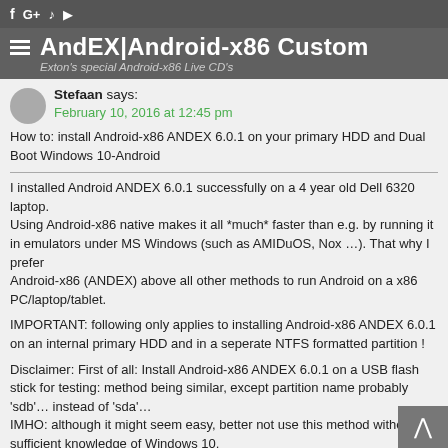f G+ RSS YT
AndEX|Android-x86 Custom
Exton's special Android-x86 Live CD's
Stefaan says:
February 10, 2016 at 12:45 pm
How to: install Android-x86 ANDEX 6.0.1 on your primary HDD and Dual Boot Windows 10-Android
I installed Android ANDEX 6.0.1 successfully on a 4 year old Dell 6320 laptop.
Using Android-x86 native makes it all *much* faster than e.g. by running it in emulators under MS Windows (such as AMIDuOS, Nox …). That why I prefer
Android-x86 (ANDEX) above all other methods to run Android on a x86 PC/laptop/tablet.
IMPORTANT: following only applies to installing Android-x86 ANDEX 6.0.1 on an internal primary HDD and in a seperate NTFS formatted partition !
Disclaimer: First of all: Install Android-x86 ANDEX 6.0.1 on a USB flash stick for testing: method being similar, except partition name probably 'sdb'… instead of 'sda'…
IMHO: although it might seem easy, better not use this method without sufficient knowledge of Windows 10.